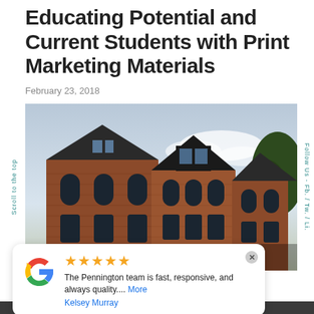Educating Potential and Current Students with Print Marketing Materials
February 23, 2018
[Figure (photo): Photograph of a historic red brick university building taken from a low angle, showing arched windows, a peaked roof, and trees against a partly cloudy sky.]
Scroll to the top
Follow Us - Fb. / Tw. / Li.
★★★★★
The Pennington team is fast, responsive, and always quality.... More
Kelsey Murray